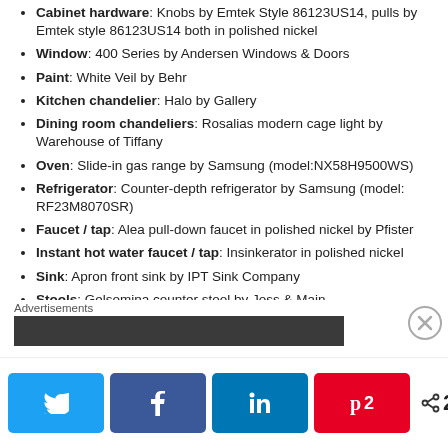Cabinet hardware: Knobs by Emtek Style 86123US14, pulls by Emtek style 86123US14 both in polished nickel
Window: 400 Series by Andersen Windows & Doors
Paint: White Veil by Behr
Kitchen chandelier: Halo by Gallery
Dining room chandeliers: Rosalias modern cage light by Warehouse of Tiffany
Oven: Slide-in gas range by Samsung (model:NX58H9500WS)
Refrigerator: Counter-depth refrigerator by Samsung (model: RF23M8070SR)
Faucet / tap: Alea pull-down faucet in polished nickel by Pfister
Instant hot water faucet / tap: Insinkerator in polished nickel
Sink: Apron front sink by IPT Sink Company
Stools: Gelsomina counter stool by Joss & Main
Upholstered dining chairs: Kenleigh tufted side chair by Wayfair with upholstery nails added
Dining table: Emma dining table by Hom Furniture
Cane dining chairs: Bought from a friend